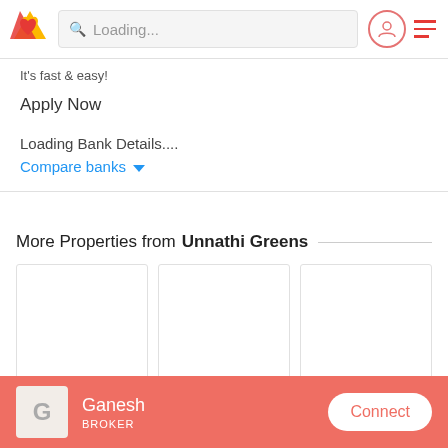Loading...
It's fast & easy!
Apply Now
Loading Bank Details....
Compare banks
More Properties from Unnathi Greens
[Figure (other): Three empty property listing cards side by side]
Ganesh
BROKER
Connect